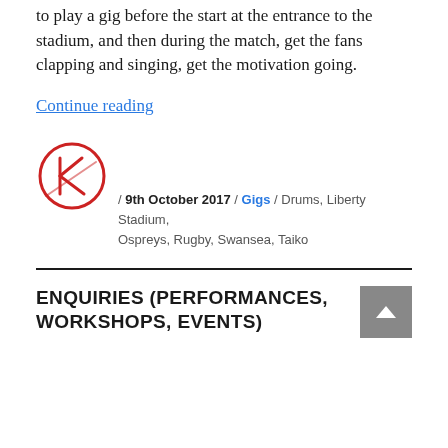to play a gig before the start at the entrance to the stadium, and then during the match, get the fans clapping and singing, get the motivation going.
Continue reading
[Figure (logo): Red circular logo with a stylized K letter inside]
/ 9th October 2017 / Gigs / Drums, Liberty Stadium, Ospreys, Rugby, Swansea, Taiko
ENQUIRIES (PERFORMANCES, WORKSHOPS, EVENTS)